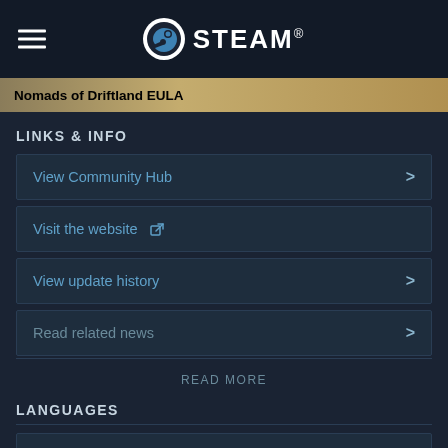STEAM
Nomads of Driftland EULA
LINKS & INFO
View Community Hub
Visit the website
View update history
Read related news
READ MORE
LANGUAGES
English and 6 more